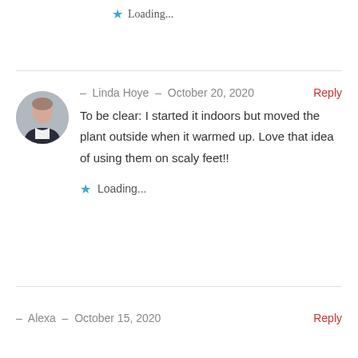★ Loading...
- Linda Hoye - October 20, 2020   Reply
To be clear: I started it indoors but moved the plant outside when it warmed up. Love that idea of using them on scaly feet!!
★ Loading...
- Alexa - October 15, 2020   Reply